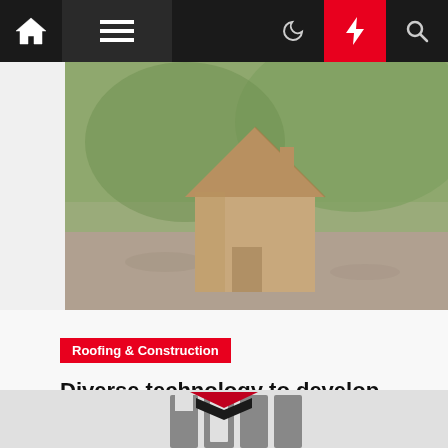Navigation bar with home, menu, moon, lightning, and search icons
[Figure (photo): Cardboard house model sitting outdoors with blurred green background and gravel]
Roofing & Construction
Diverse technology to develop sustainable construction practices
Erin Browne  4 months ago
[Figure (logo): Partial view of a logo with bold block letters and a red and dark roof shape icon at the bottom of the page]